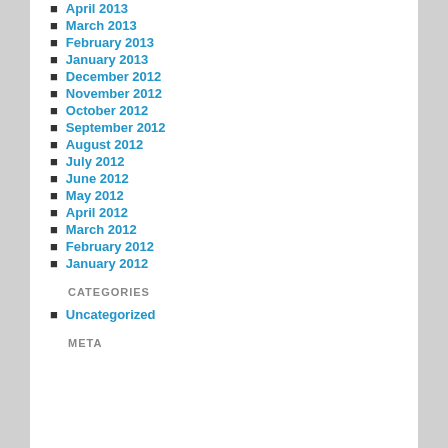April 2013
March 2013
February 2013
January 2013
December 2012
November 2012
October 2012
September 2012
August 2012
July 2012
June 2012
May 2012
April 2012
March 2012
February 2012
January 2012
CATEGORIES
Uncategorized
META